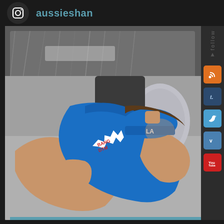aussieshan
[Figure (photo): Person lying on a grey sofa wearing a blue tank top and blue LA Dodgers cap, with a grey shag rug in the background. Social media sidebar with RSS, Tumblr, Twitter, Vimeo, and YouTube follow buttons on the right.]